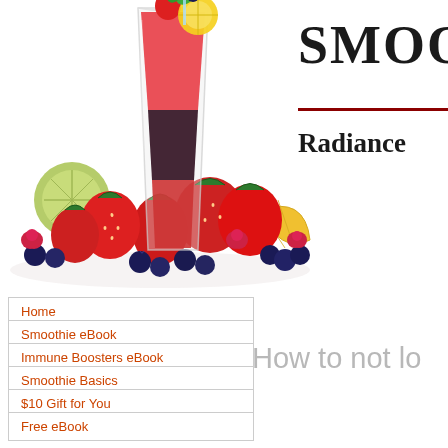[Figure (photo): A tall glass layered smoothie with strawberry, blueberry, and red fruit layers, garnished with a strawberry, lemon slice, and mint leaf on top. Surrounded by fresh strawberries, raspberries, blueberries, and citrus fruit on a white background.]
SMOOT
Radiance
Home
Smoothie eBook
Immune Boosters eBook
Smoothie Basics
$10 Gift for You
Free eBook
How to not lo